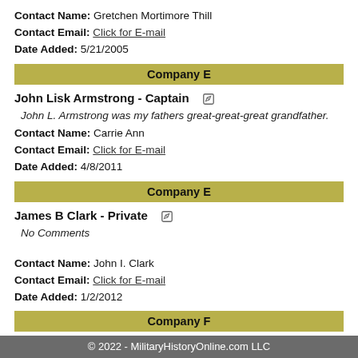Contact Name: Gretchen Mortimore Thill
Contact Email: Click for E-mail
Date Added: 5/21/2005
Company E
John Lisk Armstrong - Captain
John L. Armstrong was my fathers great-great-great grandfather.
Contact Name: Carrie Ann
Contact Email: Click for E-mail
Date Added: 4/8/2011
Company E
James B Clark - Private
No Comments
Contact Name: John I. Clark
Contact Email: Click for E-mail
Date Added: 1/2/2012
Company F
Nicholas Christian Burkerd - Private
Private Burkerd was a mule skinner. He drove a supply
© 2022 - MilitaryHistoryOnline.com LLC